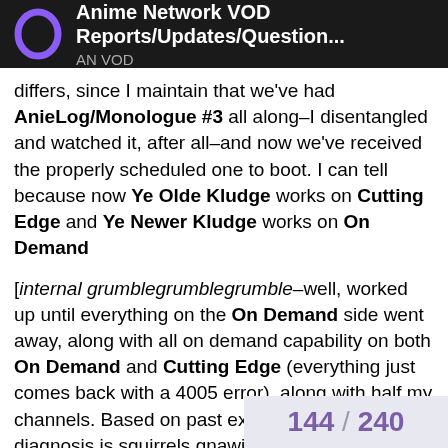Anime Network VOD Reports/Updates/Question... AN VOD
differs, since I maintain that we've had AnieLog/Monologue #3 all along–I disentangled and watched it, after all–and now we've received the properly scheduled one to boot. I can tell because now Ye Olde Kludge works on Cutting Edge and Ye Newer Kludge works on On Demand
[internal grumblegrumblegrumble–well, worked up until everything on the On Demand side went away, along with all on demand capability on both On Demand and Cutting Edge (everything just comes back with a 4005 error), along with half my channels. Based on past experience, my diagnosis is squirrels gnawing on the exterior cable wire. I hate squirrels sometimes.]
There are now two copies of AnieLog/Monologue #3 showing, with different expiration dates, one which matches when the first copy showed up uninvited, and one which matches the date on all of this week's other episodes.
And then there were the curious incidents
144 / 240